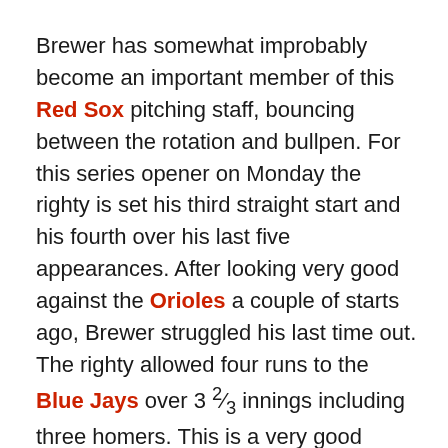Brewer has somewhat improbably become an important member of this Red Sox pitching staff, bouncing between the rotation and bullpen. For this series opener on Monday the righty is set his third straight start and his fourth over his last five appearances. After looking very good against the Orioles a couple of starts ago, Brewer struggled his last time out. The righty allowed four runs to the Blue Jays over 3 2/3 innings including three homers. This is a very good Braves lineup he's facing, so he'll have to keep the ball in the yard to have any chance at success.
Fried has emerged as the best pitcher in a Braves rotation that has been hit hard with injury, putting together a very impressive 2020. His strikeout rate is